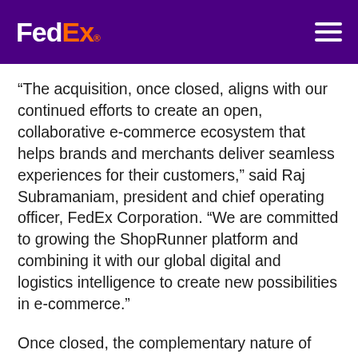FedEx.
“The acquisition, once closed, aligns with our continued efforts to create an open, collaborative e-commerce ecosystem that helps brands and merchants deliver seamless experiences for their customers,” said Raj Subramaniam, president and chief operating officer, FedEx Corporation. “We are committed to growing the ShopRunner platform and combining it with our global digital and logistics intelligence to create new possibilities in e-commerce.”
Once closed, the complementary nature of ShopRunner’s pre-purchase offerings combined with FedEx post-purchase logistics intelligence will enable brands and merchants to attract and engage